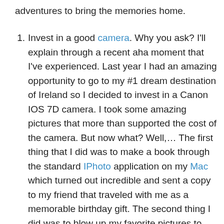adventures to bring the memories home.
Invest in a good camera. Why you ask? I'll explain through a recent aha moment that I've experienced. Last year I had an amazing opportunity to go to my #1 dream destination of Ireland so I decided to invest in a Canon IOS 7D camera. I took some amazing pictures that more than supported the cost of the camera. But now what? Well,… The first thing that I did was to make a book through the standard IPhoto application on my Mac which turned out incredible and sent a copy to my friend that traveled with me as a memorable birthday gift. The second thing I did was to blow up my favorite pictures to use as as artwork throughout my house. I did a significant amount of research; reading reviews, looking at pricing and shipping charges, etc. and decided on Nations Photo Lab. The enlarged photos